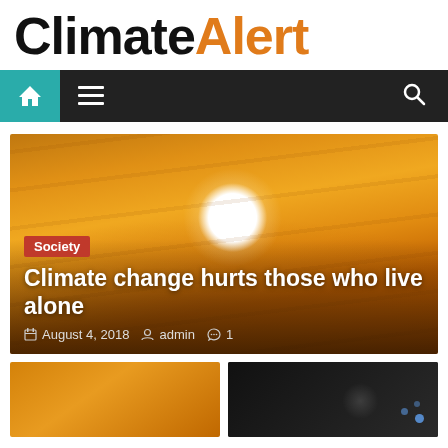ClimateAlert
[Figure (screenshot): Navigation bar with home icon (teal background), hamburger menu icon, and search icon on dark background]
[Figure (photo): Sunset sky with large white sun glowing against orange-amber haze, with dust/haze bands across the sky]
Society
Climate change hurts those who live alone
August 4, 2018  admin  1
[Figure (photo): Two thumbnail images at the bottom: left shows orange sky/sunset, right shows a dark background with a person and light bokeh dots]